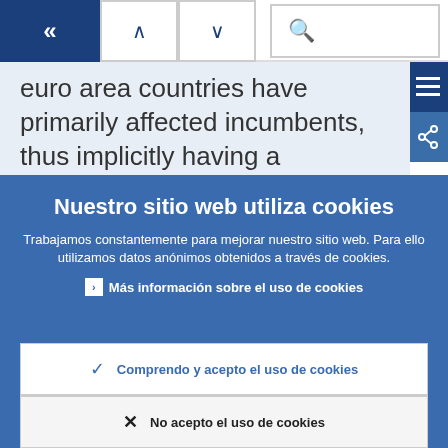[Figure (screenshot): Navigation bar with back (chevron left), up arrow, down arrow, and search (magnifier) buttons on a white background]
euro area countries have primarily affected incumbents, thus implicitly having a potentially larger impact on
Nuestro sitio web utiliza cookies
Trabajamos constantemente para mejorar nuestro sitio web. Para ello utilizamos datos anónimos obtenidos a través de cookies.
› Más información sobre el uso de cookies
✓ Comprendo y acepto el uso de cookies
✗ No acepto el uso de cookies